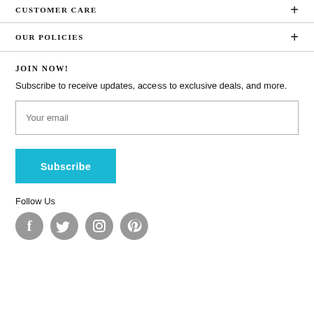Customer Care
Our Policies
JOIN NOW!
Subscribe to receive updates, access to exclusive deals, and more.
Your email
Subscribe
Follow Us
[Figure (illustration): Social media icons: Facebook, Twitter, Instagram, Pinterest]